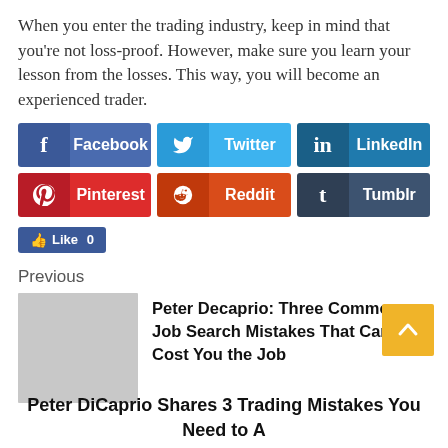When you enter the trading industry, keep in mind that you’re not loss-proof. However, make sure you learn your lesson from the losses. This way, you will become an experienced trader.
[Figure (infographic): Social media share buttons: Facebook (blue), Twitter (light blue), LinkedIn (dark blue), Pinterest (red), Reddit (orange), Tumblr (dark slate), and a Facebook Like button showing 0 likes.]
Previous
[Figure (photo): Gray placeholder thumbnail image for article navigation.]
Peter Decaprio: Three Common Job Search Mistakes That Can Cost You the Job
Peter DiCaprio Shares 3 Trading Mistakes You Need to A